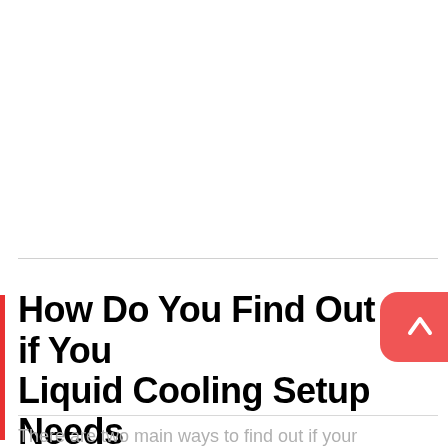How Do You Find Out if Your Liquid Cooling Setup Needs Maintenance?
There are two main ways to find out if your